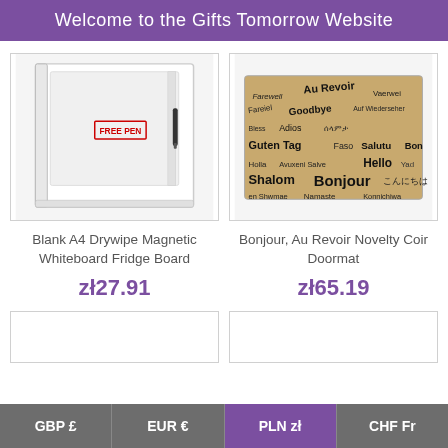Welcome to the Gifts Tomorrow Website
[Figure (photo): Blank A4 Drywipe Magnetic Whiteboard Fridge Board product image showing a white magnetic whiteboard with a free pen label and a marker]
Blank A4 Drywipe Magnetic Whiteboard Fridge Board
zł27.91
[Figure (photo): Bonjour Au Revoir Novelty Coir Doormat product image showing a tan/brown doormat with greetings in multiple languages]
Bonjour, Au Revoir Novelty Coir Doormat
zł65.19
GBP £   EUR €   PLN zł   CHF Fr